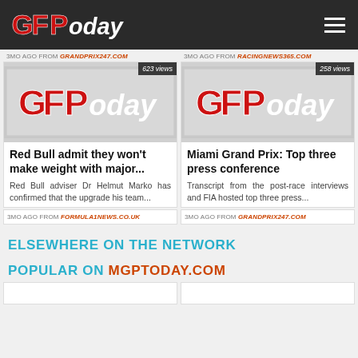GFToday
3MO AGO FROM GRANDPRIX247.COM
3MO AGO FROM RACINGNEWS365.COM
[Figure (screenshot): GFToday logo placeholder thumbnail with 623 views badge]
[Figure (screenshot): GFToday logo placeholder thumbnail with 258 views badge]
Red Bull admit they won't make weight with major...
Miami Grand Prix: Top three press conference
Red Bull adviser Dr Helmut Marko has confirmed that the upgrade his team...
Transcript from the post-race interviews and FIA hosted top three press...
3MO AGO FROM FORMULA1NEWS.CO.UK
3MO AGO FROM GRANDPRIX247.COM
ELSEWHERE ON THE NETWORK
POPULAR ON MGPTODAY.COM